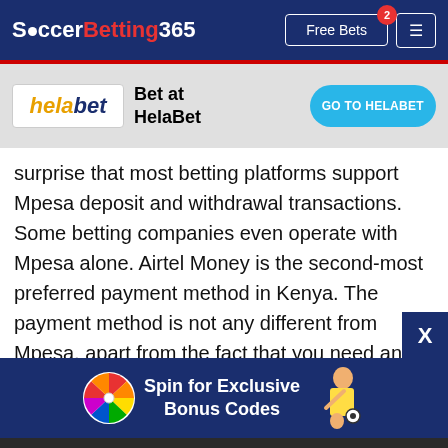SoccerBetting365 — Free Bets
[Figure (logo): HelaBet logo with yellow 'hela' and dark blue 'bet' text on white background]
Bet at HelaBet
GO TO HELABET
surprise that most betting platforms support Mpesa deposit and withdrawal transactions. Some betting companies even operate with Mpesa alone. Airtel Money is the second-most preferred payment method in Kenya. The payment method is not any different from Mpesa, apart from the fact that you need an Airtel line instead. Other payme
[Figure (infographic): Spin for Exclusive Bonus Codes banner with spinning wheel and woman with soccer ball]
This website uses cookies. By continuing to browse the site, you are agreeing to our use of cookies